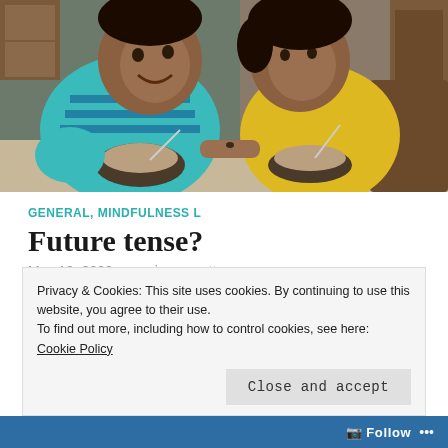[Figure (photo): Two children sitting at a table, each holding a bowl. The child on the left wears a teal/blue striped shirt and smiles broadly. The child on the right wears a yellow shirt. Background shows wooden furniture.]
GENERAL, MINDFULNESS L
Future tense?
May 10, 2020   growingupmatters
So now we are all settled in this pace of living , but beyond a point in time, there is this nagging
Privacy & Cookies: This site uses cookies. By continuing to use this website, you agree to their use.
To find out more, including how to control cookies, see here: Cookie Policy
Close and accept
Follow ...